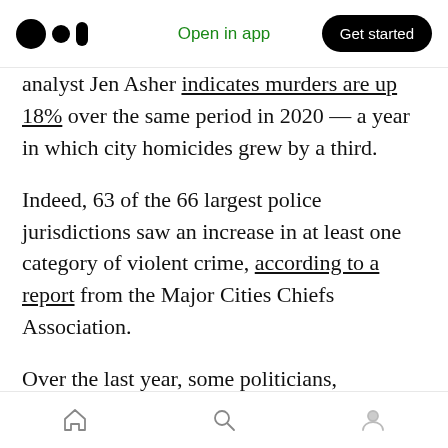Medium app navigation bar with logo, 'Open in app' link, and 'Get started' button
analyst Jen Asher indicates murders are up 18% over the same period in 2020 — a year in which city homicides grew by a third.
Indeed, 63 of the 66 largest police jurisdictions saw an increase in at least one category of violent crime, according to a report from the Major Cities Chiefs Association.
Over the last year, some politicians, particularly from the Right, have been quick to point to lockdowns and pandemic as a contributing cause, with its built-in frustrations over
Bottom navigation bar with home, search, and profile icons